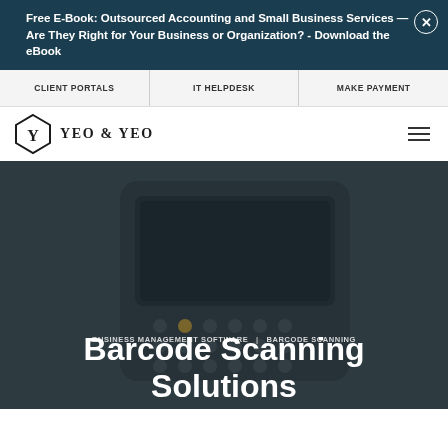Free E-Book: Outsourced Accounting and Small Business Services — Are They Right for Your Business or Organization? - Download the eBook
CLIENT PORTALS | IT HELPDESK | MAKE PAYMENT
[Figure (logo): Yeo & Yeo logo with diamond shield icon and text YEO & YEO]
BUSINESS MANAGEMENT SOFTWARE | BARCODE SCANNING
Barcode Scanning Solutions